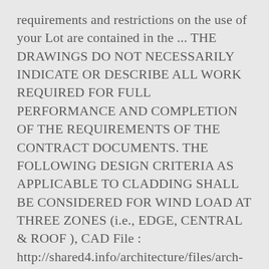requirements and restrictions on the use of your Lot are contained in the ... THE DRAWINGS DO NOT NECESSARILY INDICATE OR DESCRIBE ALL WORK REQUIRED FOR FULL PERFORMANCE AND COMPLETION OF THE REQUIREMENTS OF THE CONTRACT DOCUMENTS. THE FOLLOWING DESIGN CRITERIA AS APPLICABLE TO CLADDING SHALL BE CONSIDERED FOR WIND LOAD AT THREE ZONES (i.e., EDGE, CENTRAL & ROOF ), CAD File : http://shared4.info/architecture/files/arch-general-notes.dwg. Joomla Templates by, http://shared4.info/architecture/files/arch-general-notes.dwg. THE MOCK-UP SHALL